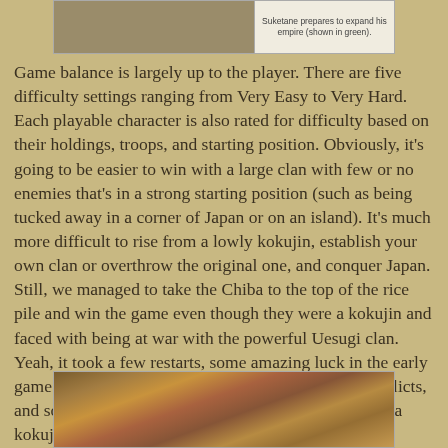[Figure (photo): Top portion of a game screenshot or map image with a caption reading 'Suketane prepares to expand his empire (shown in green).']
Game balance is largely up to the player. There are five difficulty settings ranging from Very Easy to Very Hard. Each playable character is also rated for difficulty based on their holdings, troops, and starting position. Obviously, it's going to be easier to win with a large clan with few or no enemies that's in a strong starting position (such as being tucked away in a corner of Japan or on an island). It's much more difficult to rise from a lowly kokujin, establish your own clan or overthrow the original one, and conquer Japan. Still, we managed to take the Chiba to the top of the rice pile and win the game even though they were a kokujin and faced with being at war with the powerful Uesugi clan. Yeah, it took a few restarts, some amazing luck in the early game with the Uesugi being fractured by internal conflicts, and some daring diplomacy. If you're going to play as a kokujin, you'll have to be very familiar with the game system and how plots work, and be VERY lucky. But it can be done!
[Figure (photo): Bottom portion showing a colorful game map of Japan with various territories.]